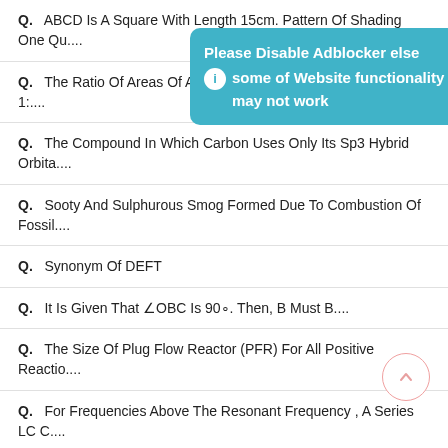Q.   ABCD Is A Square With Length 15cm. Pattern Of Shading One Qu....
Q.   The Ratio Of Areas Of A Circular And Rectangular Field Is 1:....
Q.   The Compound In Which Carbon Uses Only Its Sp3 Hybrid Orbita....
Q.   Sooty And Sulphurous Smog Formed Due To Combustion Of Fossil....
Q.   Synonym Of DEFT
Q.   It Is Given That ∠OBC Is 90∘. Then, B Must B....
Q.   The Size Of Plug Flow Reactor (PFR) For All Positive Reactio....
Q.   For Frequencies Above The Resonant Frequency , A Series LC C....
Q.   If Blausius Or Darcey Friction Factor Is 'f1'